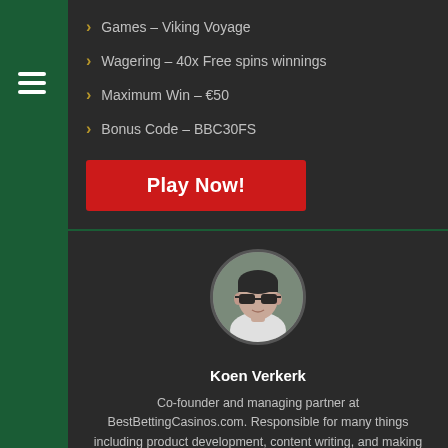Games – Viking Voyage
Wagering – 40x Free spins winnings
Maximum Win – €50
Bonus Code – BBC30FS
[Figure (other): Red 'Play Now!' call-to-action button]
[Figure (photo): Circular profile photo of Koen Verkerk wearing sunglasses]
Koen Verkerk
Co-founder and managing partner at BestBettingCasinos.com. Responsible for many things including product development, content writing, and making sure searchers find...